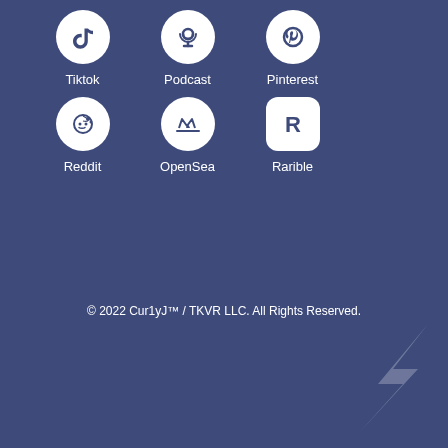[Figure (infographic): Social media and platform icons grid: Tiktok, Podcast, Pinterest, Reddit (top row), OpenSea, Rarible (second row)]
© 2022 Cur1yJ™ / TKVR LLC. All Rights Reserved.